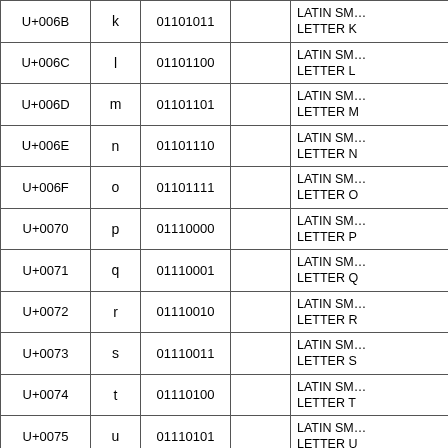| Code | Char | Binary |  | Name |
| --- | --- | --- | --- | --- |
| U+006B | k | 01101011 |  | LATIN SMALL LETTER K |
| U+006C | l | 01101100 |  | LATIN SMALL LETTER L |
| U+006D | m | 01101101 |  | LATIN SMALL LETTER M |
| U+006E | n | 01101110 |  | LATIN SMALL LETTER N |
| U+006F | o | 01101111 |  | LATIN SMALL LETTER O |
| U+0070 | p | 01110000 |  | LATIN SMALL LETTER P |
| U+0071 | q | 01110001 |  | LATIN SMALL LETTER Q |
| U+0072 | r | 01110010 |  | LATIN SMALL LETTER R |
| U+0073 | s | 01110011 |  | LATIN SMALL LETTER S |
| U+0074 | t | 01110100 |  | LATIN SMALL LETTER T |
| U+0075 | u | 01110101 |  | LATIN SMALL LETTER U |
| U+0076 | v | 01110110 |  | LATIN SMALL LETTER V |